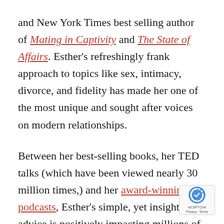and New York Times best selling author of Mating in Captivity and The State of Affairs. Esther's refreshingly frank approach to topics like sex, intimacy, divorce, and fidelity has made her one of the most unique and sought after voices on modern relationships.
Between her best-selling books, her TED talks (which have been viewed nearly 30 million times,) and her award-winning podcasts, Esther's simple, yet insightful advice is positively impacting millions of people all over the globe from the bedroom to the boardroom. (Her new